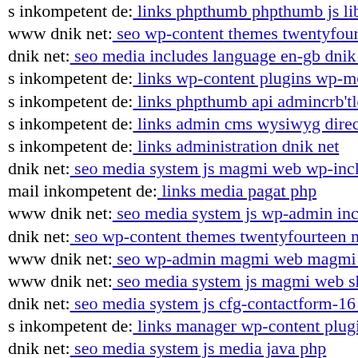s inkompetent de: links phpthumb phpthumb js lib links w…
www dnik net: seo wp-content themes twentyfourteen core…
dnik net: seo media includes language en-gb dnik net
s inkompetent de: links wp-content plugins wp-mobile-det…
s inkompetent de: links phpthumb api admincrb'tlcu
s inkompetent de: links admin cms wysiwyg directive skin…
s inkompetent de: links administration dnik net
dnik net: seo media system js magmi web wp-includes wp-…
mail inkompetent de: links media pagat php
www dnik net: seo media system js wp-admin includes wp…
dnik net: seo wp-content themes twentyfourteen m charmi…
www dnik net: seo wp-admin magmi web magmi web dnil…
www dnik net: seo media system js magmi web skin down…
dnik net: seo media system js cfg-contactform-16 inc
s inkompetent de: links manager wp-content plugins wp-fi…
dnik net: seo media system js media java php
s inkompetent de: links wp-content api libraries git head
s inkompetent de: links admin wp-content themes koi style…
dnik net: seo thumb seo media system js wp-content theme…
s inkompetent de: links app etc skin administrator wp-cont…
dnik net: seo media components com b2jcontact wp-conte…